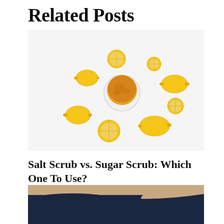Related Posts
[Figure (photo): Flat-lay photo of lemons and lemon halves arranged around a bowl of orange/yellow sugar or salt scrub on a white background]
Salt Scrub vs. Sugar Scrub: Which One To Use?
[Figure (photo): Partial photo showing a person in a dark navy blue t-shirt, cropped — only torso/arm visible]